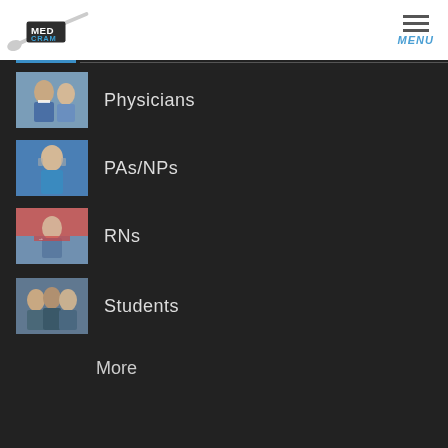MedCram - MENU
Physicians
PAs/NPs
RNs
Students
More